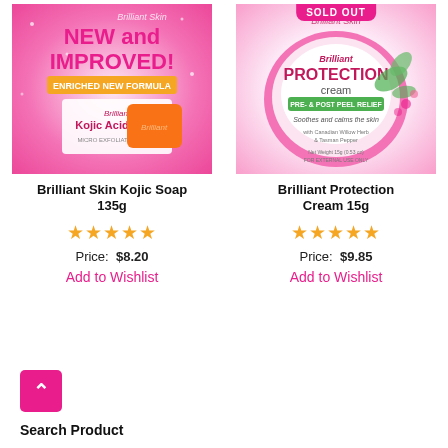[Figure (photo): Brilliant Skin Kojic Acid Soap product image with pink background, 'NEW and IMPROVED! ENRICHED NEW FORMULA' text, showing an orange soap bar]
[Figure (photo): Brilliant Skin Protection Cream 15g product image with pink/white background, 'SOLD OUT' badge, showing cream container with PRE- & POST PEEL RELIEF label]
Brilliant Skin Kojic Soap 135g
Brilliant Protection Cream 15g
★★★★★
★★★★★
Price:  $8.20
Price:  $9.85
Add to Wishlist
Add to Wishlist
Search Product